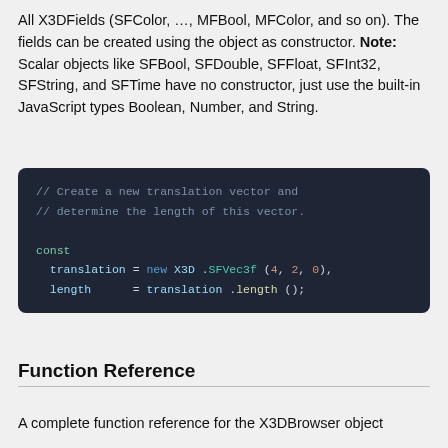All X3DFields (SFColor, …, MFBool, MFColor, and so on). The fields can be created using the object as constructor. Note: Scalar objects like SFBool, SFDouble, SFFloat, SFInt32, SFString, and SFTime have no constructor, just use the built-in JavaScript types Boolean, Number, and String.
[Figure (screenshot): Dark-themed code block showing JavaScript code: comments about creating a translation vector and determining its length, followed by const declaration with translation = new X3D.SFVec3f (4, 2, 0), and length = translation.length ();]
Function Reference
A complete function reference for the X3DBrowser object